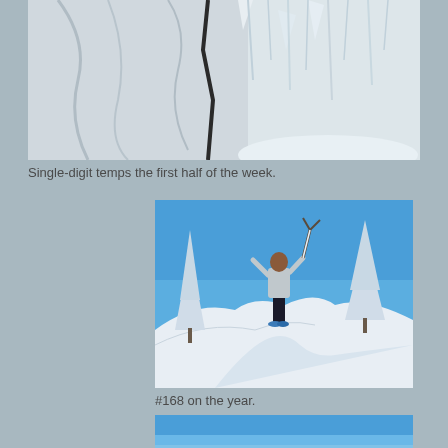[Figure (photo): Close-up photo of a person in winter gear with icy/snowy background, showing white jacket and frozen hair or icicles]
Single-digit temps the first half of the week.
[Figure (photo): Person standing on top of a large snow-covered mound or peak, surrounded by snow-covered trees and bright blue sky]
#168 on the year.
[Figure (photo): Expansive blue sky view, possibly from a mountain top, with hazy blue horizon]